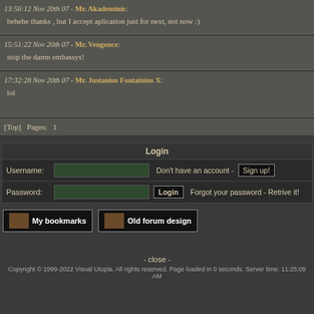13:56:12 Nov 20th 07 - Mr. Akademinis: hehehe thanks , but I accept aplication just for next, not now :)
15:51:22 Nov 20th 07 - Mr. Vengence: stop the damn embassys!
17:32:28 Nov 20th 07 - Mr. Justanius Fontainius X: lol
[Top]  Pages:  1
Login
Username:  Don't have an account - Sign up!
Password:  Login  Forgot your password - Retrive it!
My bookmarks   Old forum design
- close -
Copyright © 1999-2022 Visual Utopia. All rights reserved. Page loaded in 0 seconds. Server time: 11:25:09 AM